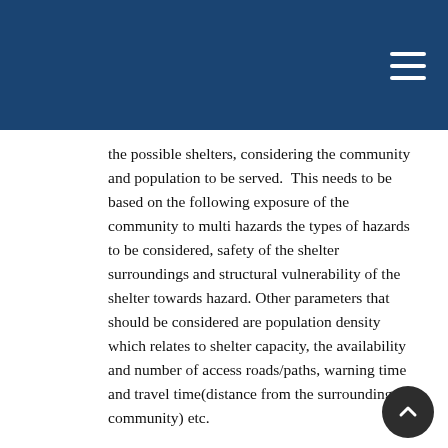the possible shelters, considering the community and population to be served.  This needs to be based on the following exposure of the community to multi hazards the types of hazards to be considered, safety of the shelter surroundings and structural vulnerability of the shelter towards hazard. Other parameters that should be considered are population density which relates to shelter capacity, the availability and number of access roads/paths, warning time and travel time(distance from the surrounding community) etc.
The systematic approach to shelter analysis and evaluation criteria is explained through “Dominica’s Hurricane Shelter Assessment and Comprehensive Data collection… shelter assessment process carried out